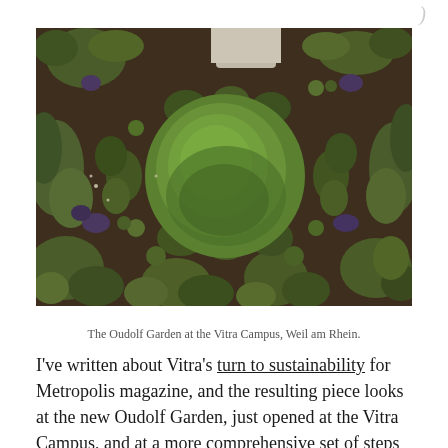[Figure (photo): Aerial overhead view of the Oudolf Garden at Vitra Campus, Weil am Rhein. A circular green lawn mound is visible in the center, surrounded by dense plantings of trees and shrubs in various shades of green, brown, and purple. The garden has an organic, naturalistic form viewed from directly above.]
The Oudolf Garden at the Vitra Campus, Weil am Rhein.
I've written about Vitra's turn to sustainability for Metropolis magazine, and the resulting piece looks at the new Oudolf Garden, just opened at the Vitra Campus, and at a more comprehensive set of steps